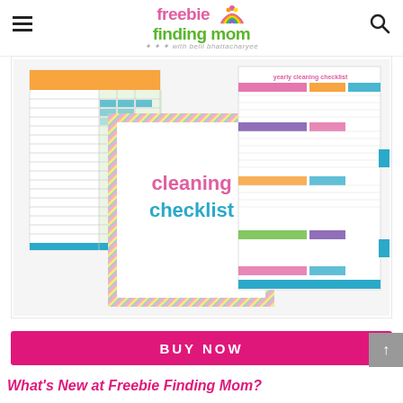freebie finding mom with belli bhattacharyee
[Figure (photo): Product image of cleaning checklist printable bundle showing colorful pages with rainbow stripe borders and yearly cleaning checklist sheets]
[Figure (other): BUY NOW pink button]
What's New at Freebie Finding Mom?